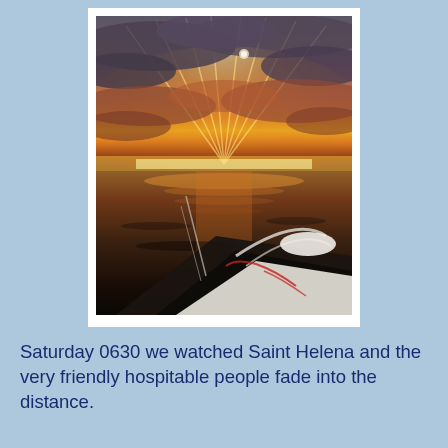[Figure (photo): A dramatic sunset viewed from the deck of a sailing vessel. The sky is filled with dramatic clouds lit in shades of orange, red, and golden yellow as the sun sets below the horizon over a calm ocean. Rays of sunlight burst through the clouds. The foreground shows the bow of the boat with railing, ropes, and rigging.]
Saturday 0630 we watched Saint Helena and the very friendly hospitable people fade into the distance.